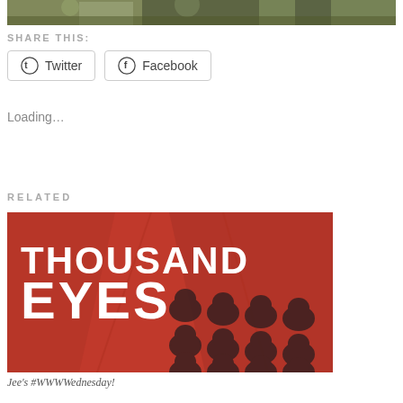[Figure (photo): Top portion of an outdoor photograph showing trees and foliage]
SHARE THIS:
Twitter  Facebook
Loading...
RELATED
[Figure (photo): Book cover for 'Thousand Eyes' featuring red background with silhouetted figures wearing caps arranged in a grid pattern, with bold white text reading THOUSAND EYES]
Jee's #WWWWednesday!